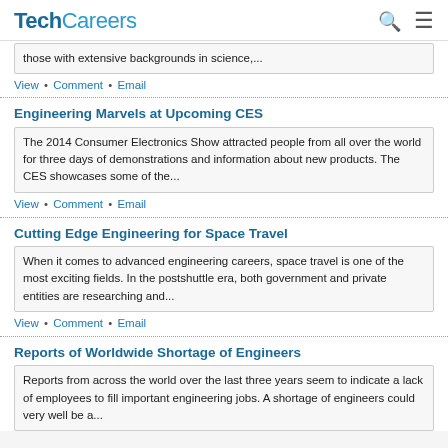TechCareers
those with extensive backgrounds in science,...
View • Comment • Email
Engineering Marvels at Upcoming CES
The 2014 Consumer Electronics Show attracted people from all over the world for three days of demonstrations and information about new products. The CES showcases some of the...
View • Comment • Email
Cutting Edge Engineering for Space Travel
When it comes to advanced engineering careers, space travel is one of the most exciting fields. In the postshuttle era, both government and private entities are researching and...
View • Comment • Email
Reports of Worldwide Shortage of Engineers
Reports from across the world over the last three years seem to indicate a lack of employees to fill important engineering jobs. A shortage of engineers could very well be a...